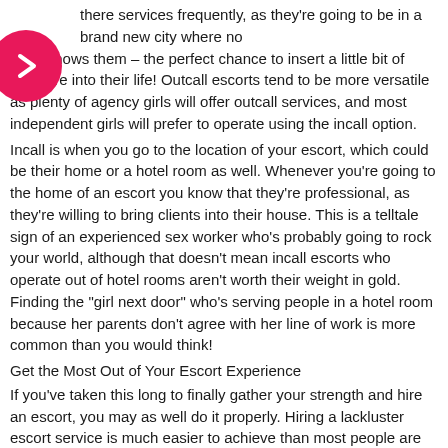there services frequently, as they're going to be in a brand new city where nobody knows them – the perfect chance to insert a little bit of pleasure into their life! Outcall escorts tend to be more versatile as plenty of agency girls will offer outcall services, and most independent girls will prefer to operate using the incall option.
Incall is when you go to the location of your escort, which could be their home or a hotel room as well. Whenever you're going to the home of an escort you know that they're professional, as they're willing to bring clients into their house. This is a telltale sign of an experienced sex worker who's probably going to rock your world, although that doesn't mean incall escorts who operate out of hotel rooms aren't worth their weight in gold. Finding the "girl next door" who's serving people in a hotel room because her parents don't agree with her line of work is more common than you would think!
Get the Most Out of Your Escort Experience
If you've taken this long to finally gather your strength and hire an escort, you may as well do it properly. Hiring a lackluster escort service is much easier to achieve than most people are led to believe, especially if you're trying to hire an escort for the first time. The industry can offer a lot of pleasure, but it can promote headaches as well – you must work with the #1 provider of escorts in Canada (that being us!) to avoid any potential problems.
Your deepest and darkest fantasies can finally come to life, all you need to